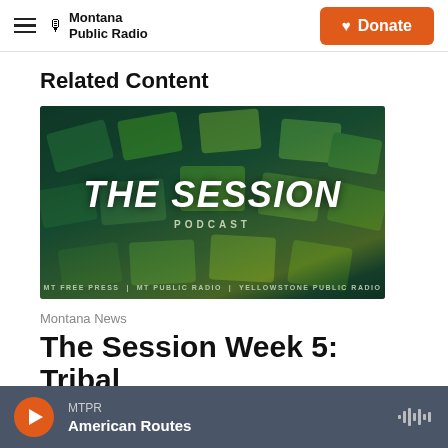Montana Public Radio | Donate
Related Content
[Figure (photo): The Session Podcast logo over aerial view of school desks, with text: MT FREE PRESS | MT PUBLIC RADIO | YELLOWSTONE PUBLIC RADIO]
Montana News
The Session Week 5: Tribal
MTPR American Routes